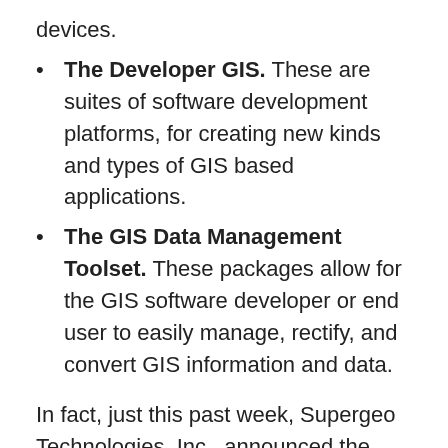devices.
The Developer GIS. These are suites of software development platforms, for creating new kinds and types of GIS based applications.
The GIS Data Management Toolset. These packages allow for the GIS software developer or end user to easily manage, rectify, and convert GIS information and data.
In fact, just this past week, Supergeo Technologies, Inc., announced the launch of a new software platform called the “SuperGIS Engine 3.3.” With this new solution, more key components are offered to the software